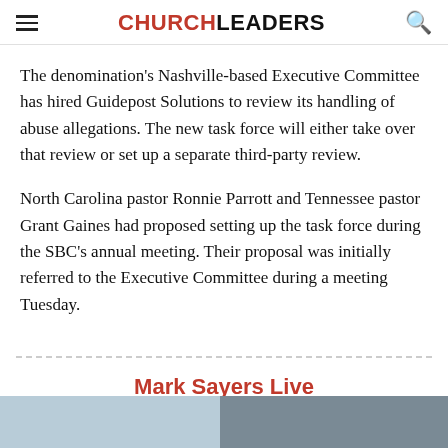CHURCHLEADERS
The denomination's Nashville-based Executive Committee has hired Guidepost Solutions to review its handling of abuse allegations. The new task force will either take over that review or set up a separate third-party review.
North Carolina pastor Ronnie Parrott and Tennessee pastor Grant Gaines had proposed setting up the task force during the SBC's annual meeting. Their proposal was initially referred to the Executive Committee during a meeting Tuesday.
Mark Sayers Live
What's happening in the church?
[Figure (photo): Partial bottom image strip, two images side by side, partially cut off]